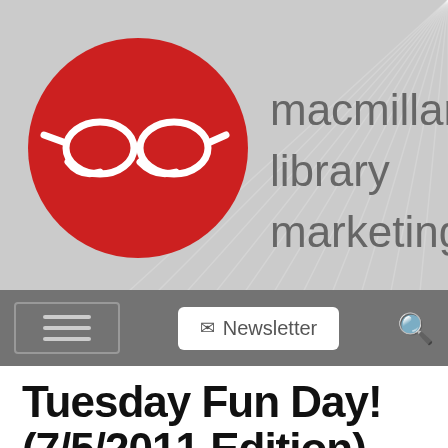[Figure (logo): Macmillan Library Marketing logo: red circle with white cat-eye glasses icon, next to text 'macmillan library marketing' in light gray]
Newsletter  [search icon]
Tuesday Fun Day! (7/5/2011 Edition)
POSTED ON JULY 5, 2011 BY ALI FISHER
I know, I know; "Tuesday Fun Day" doesn't exactly rhyme, but we were out of the office on Monday and I simply refuse to skip Fun Day, so you're just going to